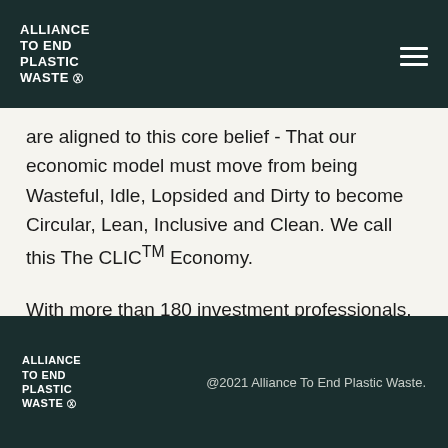ALLIANCE TO END PLASTIC WASTE
are aligned to this core belief - That our economic model must move from being Wasteful, Idle, Lopsided and Dirty to become Circular, Lean, Inclusive and Clean. We call this The CLIC™ Economy.
With more than 180 investment professionals, we are a global business with a network of 13 offices across Europe, Asia and North America and have assets under management of 71 billion CHF (as of 31 December 2021).
ALLIANCE TO END PLASTIC WASTE  @2021 Alliance To End Plastic Waste.